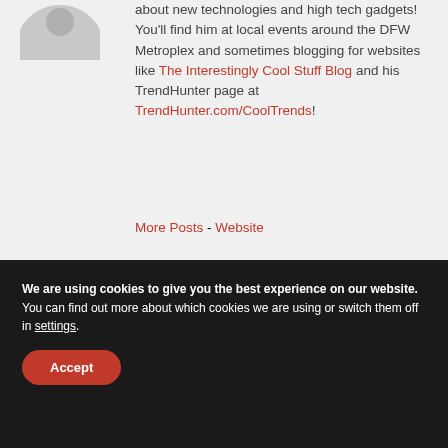[Figure (illustration): Partial avatar/profile picture circle (grey silhouette) cut off at top]
about new technologies and high tech gadgets! You'll find him at local events around the DFW Metroplex and sometimes blogging for websites like The Interestingly Cool Stuff Blog and his TrendHunter page at TrendHunter.com/CoolTrends!
More Posts - Website
We are using cookies to give you the best experience on our website.
You can find out more about which cookies we are using or switch them off in settings.
Accept